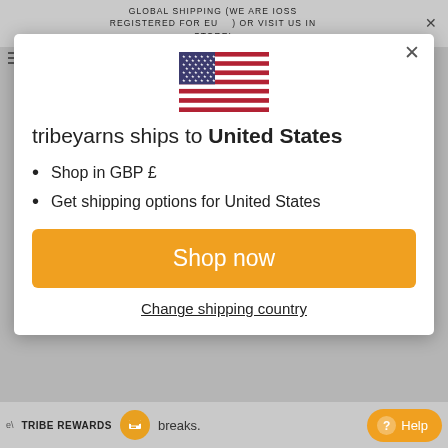GLOBAL SHIPPING (WE ARE IOSS REGISTERED FOR EU ) OR VISIT US IN STORE!
[Figure (illustration): United States flag emoji/icon]
tribeyarns ships to United States
Shop in GBP £
Get shipping options for United States
Shop now
Change shipping country
TRIBE REWARDS   breaks.